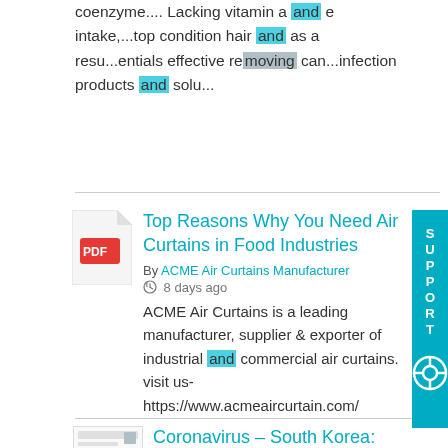coenzyme.... Lacking vitamin a and e intake,...top condition hair and as a resu...entials effective removing can...infection products and solu...
[Figure (illustration): PDF file icon with red Adobe PDF logo]
Top Reasons Why You Need Air Curtains in Food Industries
By ACME Air Curtains Manufacturer
8 days ago
ACME Air Curtains is a leading manufacturer, supplier & exporter of industrial and commercial air curtains. visit us- https://www.acmeaircurtain.com/
[Figure (screenshot): Thumbnail image of a document with chart/graph]
Coronavirus – South Korea: COVID-19 update (13 August